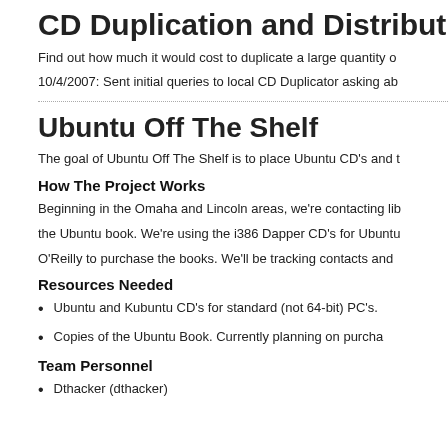CD Duplication and Distribution
Find out how much it would cost to duplicate a large quantity o
10/4/2007: Sent initial queries to local CD Duplicator asking ab
Ubuntu Off The Shelf
The goal of Ubuntu Off The Shelf is to place Ubuntu CD's and t
How The Project Works
Beginning in the Omaha and Lincoln areas, we're contacting lib
the Ubuntu book. We're using the i386 Dapper CD's for Ubuntu
O'Reilly to purchase the books. We'll be tracking contacts and
Resources Needed
Ubuntu and Kubuntu CD's for standard (not 64-bit) PC's.
Copies of the Ubuntu Book. Currently planning on purcha
Team Personnel
Dthacker (dthacker)